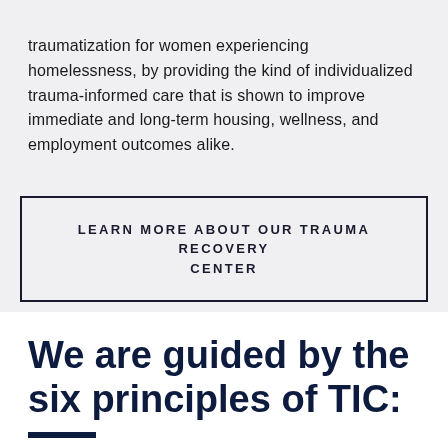traumatization for women experiencing homelessness, by providing the kind of individualized trauma-informed care that is shown to improve immediate and long-term housing, wellness, and employment outcomes alike.
LEARN MORE ABOUT OUR TRAUMA RECOVERY CENTER
We are guided by the six principles of TIC: